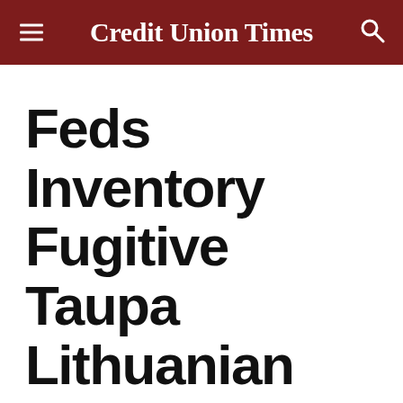Credit Union Times
Feds Inventory Fugitive Taupa Lithuanian CEO's Home
Two kitchens, five-and-a-half baths, indoor pool all part of million-dollar Cleveland home seized as search for